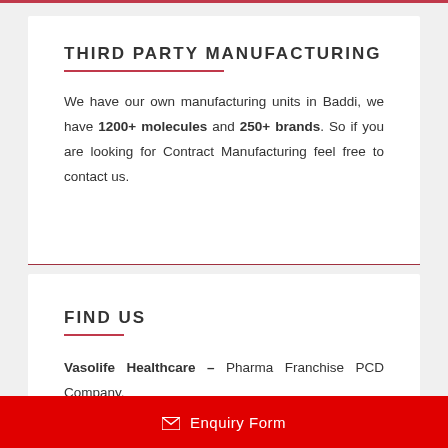THIRD PARTY MANUFACTURING
We have our own manufacturing units in Baddi, we have 1200+ molecules and 250+ brands. So if you are looking for Contract Manufacturing feel free to contact us.
FIND US
Vasolife Healthcare – Pharma Franchise PCD Company.
Enquiry Form